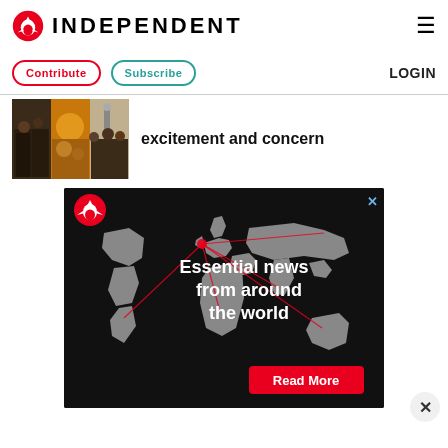INDEPENDENT
Contribute  Subscribe  LOGIN
[Figure (photo): Three-panel collage of people at an event or gathering outdoors]
excitement and concern
[Figure (infographic): Independent advertisement: dark world map background with red lines radiating from a point in Europe, eagle logo top left, text reads 'Essential news from around the world', red 'Read More' button at bottom right, blue X close button top right]